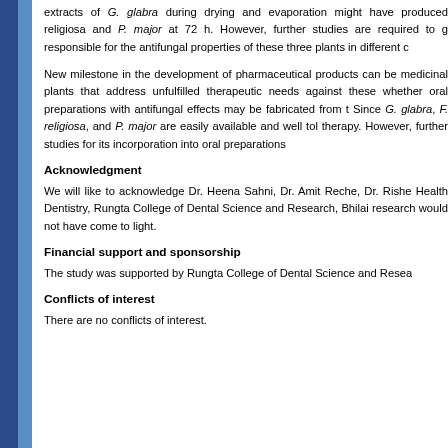extracts of G. glabra during drying and evaporation might have produced religiosa and P. major at 72 h. However, further studies are required to g responsible for the antifungal properties of these three plants in different c
New milestone in the development of pharmaceutical products can be medicinal plants that address unfulfilled therapeutic needs against these whether oral preparations with antifungal effects may be fabricated from t Since G. glabra, F. religiosa, and P. major are easily available and well tol therapy. However, further studies for its incorporation into oral preparations
Acknowledgment
We will like to acknowledge Dr. Heena Sahni, Dr. Amit Reche, Dr. Rishe Health Dentistry, Rungta College of Dental Science and Research, Bhilai research would not have come to light.
Financial support and sponsorship
The study was supported by Rungta College of Dental Science and Resea
Conflicts of interest
There are no conflicts of interest.